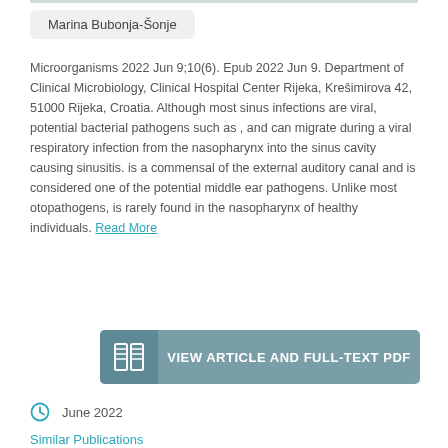Marina Bubonja-Šonje
Microorganisms 2022 Jun 9;10(6). Epub 2022 Jun 9. Department of Clinical Microbiology, Clinical Hospital Center Rijeka, Krešimirova 42, 51000 Rijeka, Croatia. Although most sinus infections are viral, potential bacterial pathogens such as , and can migrate during a viral respiratory infection from the nasopharynx into the sinus cavity causing sinusitis. is a commensal of the external auditory canal and is considered one of the potential middle ear pathogens. Unlike most otopathogens, is rarely found in the nasopharynx of healthy individuals. Read More
VIEW ARTICLE AND FULL-TEXT PDF
June 2022
Similar Publications